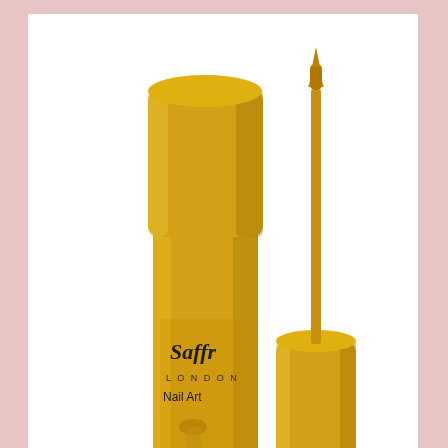[Figure (photo): Gold Saffron Nail Art nail polish bottle with cap removed and brush applicator shown separately. The bottle is gold colored with black label text reading 'Saffron London Nail Art e: 5ML'. The cap/applicator is a gold cylindrical tube with a thin nail art brush.]
Saffron Nail Polish Nail Art Gold 9
£2.49